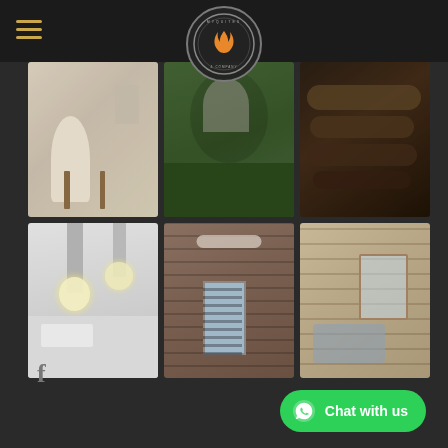[Figure (logo): Circular logo for Myquites & Company with flame icon in center, decorative border text around edge]
[Figure (photo): 6-photo grid gallery: (1) minimalist interior with white Eames chair, (2) person sitting in outdoor rocking chair in garden, (3) close-up of stacked firewood logs, (4) bathroom with exposed brick, floating shelves with towels, pendant Edison bulb lights, (5) bedroom/interior with ceiling fan, wood plank walls, window with blinds, (6) living room with horizontal wood plank walls, sofa, window]
[Figure (logo): Facebook 'f' icon in gray]
Chat with us